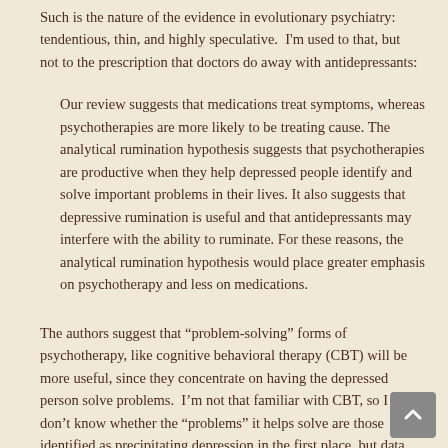Such is the nature of the evidence in evolutionary psychiatry: tendentious, thin, and highly speculative. I'm used to that, but not to the prescription that doctors do away with antidepressants:
Our review suggests that medications treat symptoms, whereas psychotherapies are more likely to be treating cause. The analytical rumination hypothesis suggests that psychotherapies are productive when they help depressed people identify and solve important problems in their lives. It also suggests that depressive rumination is useful and that antidepressants may interfere with the ability to ruminate. For these reasons, the analytical rumination hypothesis would place greater emphasis on psychotherapy and less on medications.
The authors suggest that “problem-solving” forms of psychotherapy, like cognitive behavioral therapy (CBT) will be more useful, since they concentrate on having the depressed person solve problems. I’m not that familiar with CBT, so I don’t know whether the “problems” it helps solve are those identified as precipitating depression in the first place, but data do show